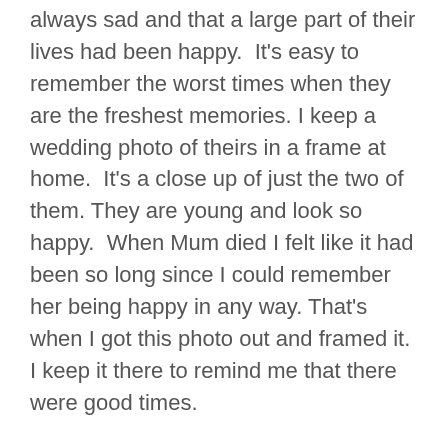always sad and that a large part of their lives had been happy.  It's easy to remember the worst times when they are the freshest memories. I keep a wedding photo of theirs in a frame at home.  It's a close up of just the two of them. They are young and look so happy.  When Mum died I felt like it had been so long since I could remember her being happy in any way. That's when I got this photo out and framed it. I keep it there to remind me that there were good times.
How do you handle the question – have you got any siblings?